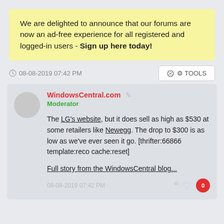We are delighted to announce that our forums are now an ad-free experience for all registered and logged-in users - Sign up here today!
08-08-2019 07:42 PM
TOOLS
WindowsCentral.com Moderator
The LG's website, but it does sell as high as $530 at some retailers like Newegg. The drop to $300 is as low as we've ever seen it go. [thrifter:66866 template:reco cache:reset]
Full story from the WindowsCentral blog...
08-08-2019 07:42 PM